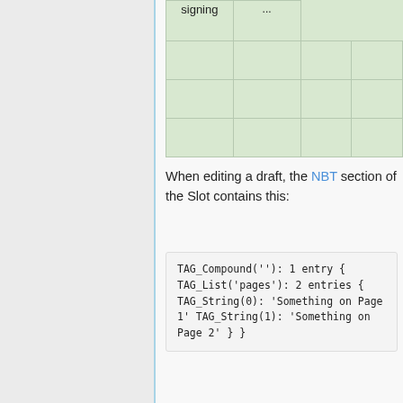|  |  |  | signing | ... |
| --- | --- | --- | --- | --- |
|  |  |  |  |  |
|  |  |  |  |  |
When editing a draft, the NBT section of the Slot contains this:
TAG_Compound(''): 1 entry
{
    TAG_List('pages'): 2 entries
    {
        TAG_String(0):
'Something on Page 1'
        TAG_String(1):
'Something on Page 2'
    }
}